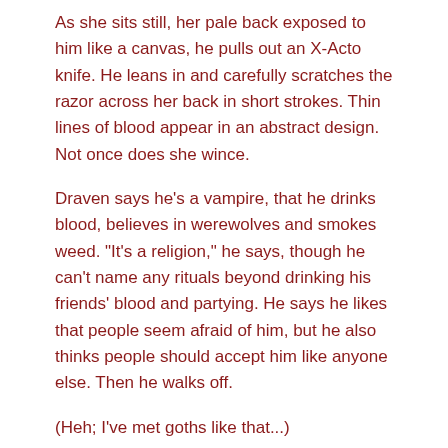As she sits still, her pale back exposed to him like a canvas, he pulls out an X-Acto knife. He leans in and carefully scratches the razor across her back in short strokes. Thin lines of blood appear in an abstract design. Not once does she wince.
Draven says he's a vampire, that he drinks blood, believes in werewolves and smokes weed. "It's a religion," he says, though he can't name any rituals beyond drinking his friends' blood and partying. He says he likes that people seem afraid of him, but he also thinks people should accept him like anyone else. Then he walks off.
(Heh; I've met goths like that...)